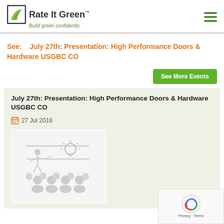Rate It Green™ — Build green confidently.
See:   July 27th: Presentation: High Performance Doors & Hardware USGBC CO
See More Events
July 27th: Presentation: High Performance Doors & Hardware USGBC CO
27 Jul 2016
[Figure (illustration): Presentation illustration showing a speaker at a podium with audience members and a light bulb idea graphic, rendered in light grey tones.]